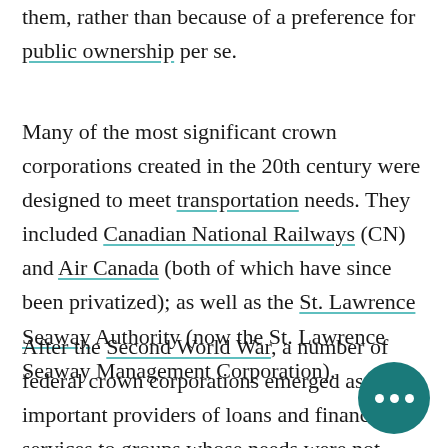them, rather than because of a preference for public ownership per se.
Many of the most significant crown corporations created in the 20th century were designed to meet transportation needs. They included Canadian National Railways (CN) and Air Canada (both of which have since been privatized); as well as the St. Lawrence Seaway Authority (now the St. Lawrence Seaway Management Corporation).
After the Second World War, a number of federal crown corporations emerged as important providers of loans and financial services to groups whose needs were not